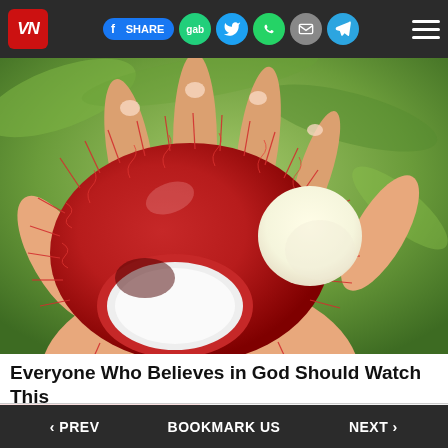VN | [f] SHARE | gab | Twitter | WhatsApp | Email | Telegram | Menu
[Figure (photo): A hand holding open rambutan fruits showing the white flesh inside, with green foliage in the background]
Everyone Who Believes in God Should Watch This
[Figure (photo): Partial advertisement banner]
‹ PREV    BOOKMARK US    NEXT ›